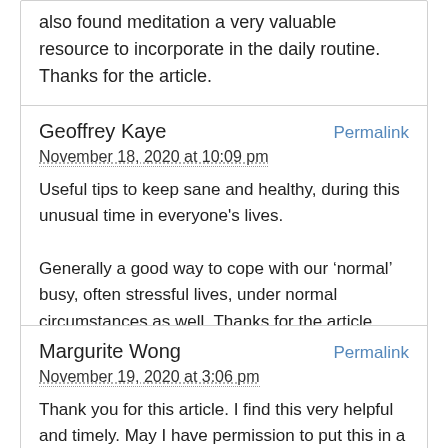also found meditation a very valuable resource to incorporate in the daily routine. Thanks for the article.
Geoffrey Kaye
Permalink
November 18, 2020 at 10:09 pm
Useful tips to keep sane and healthy, during this unusual time in everyone's lives.
Generally a good way to cope with our ‘normal’ busy, often stressful lives, under normal circumstances as well. Thanks for the article.
Margurite Wong
Permalink
November 19, 2020 at 3:06 pm
Thank you for this article. I find this very helpful and timely. May I have permission to put this in a newsletter at my work place?